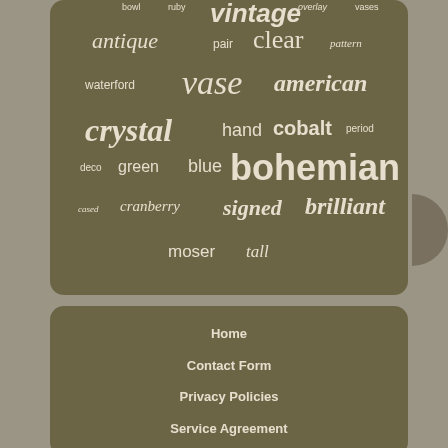[Figure (other): Word cloud on dark olive/brown rounded rectangle background with antique glass-related terms in varying sizes and styles. Words include: bowl, ruby, vintage, overlay, vases, antique, pair, clear, pattern, waterford, vase, american, crystal, hand, cobalt, period, deco, green, blue, bohemian, cased, cranberry, signed, brilliant, moser, tall]
Home
Contact Form
Privacy Policies
Service Agreement